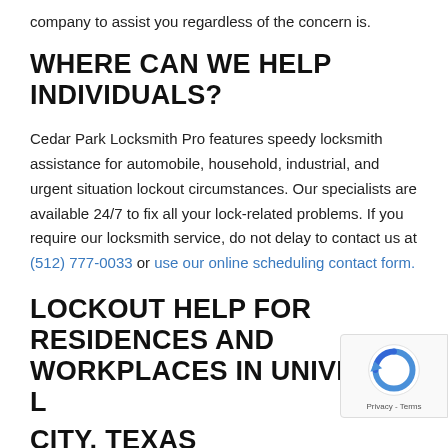company to assist you regardless of the concern is.
WHERE CAN WE HELP INDIVIDUALS?
Cedar Park Locksmith Pro features speedy locksmith assistance for automobile, household, industrial, and urgent situation lockout circumstances. Our specialists are available 24/7 to fix all your lock-related problems. If you require our locksmith service, do not delay to contact us at (512) 777-0033 or use our online scheduling contact form.
LOCKOUT HELP FOR RESIDENCES AND WORKPLACES IN UNIVERSAL CITY, TEXAS